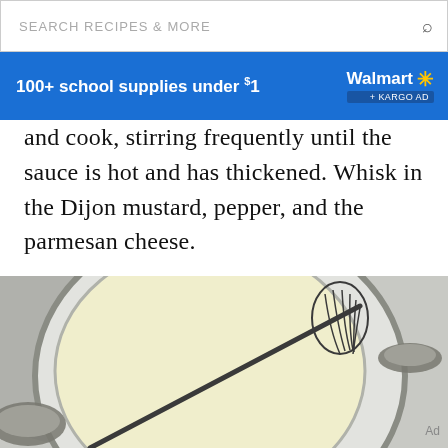SEARCH RECIPES & MORE
[Figure (screenshot): Walmart advertisement banner: '100+ school supplies under $1' with Walmart logo and spark icon, blue background, + KARGO AD tag]
and cook, stirring frequently until the sauce is hot and has thickened. Whisk in the Dijon mustard, pepper, and the parmesan cheese.
[Figure (photo): Top-down photo of a silver saucepan with creamy white/pale yellow sauce, a whisk resting inside the pan, on a light gray background]